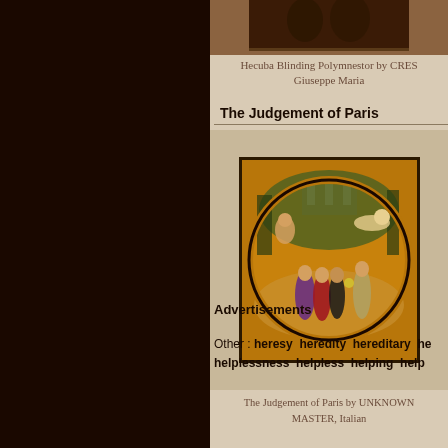[Figure (photo): Partial view of painting Hecuba Blinding Polymnestor by CRESPI Giuseppe Maria, dark tones, cropped at top]
Hecuba Blinding Polymnestor by CRESPI, Giuseppe Maria
The Judgement of Paris
[Figure (illustration): The Judgement of Paris painting by UNKNOWN MASTER, Italian. Circular tondo depicting classical scene with figures in landscape, warm brown/orange background.]
The Judgement of Paris by UNKNOWN MASTER, Italian
Advertisements
Other : heresy  heredity  hereditary  he helplessness  helpless  helping  help